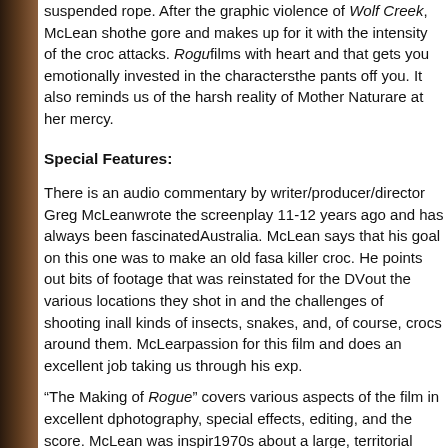suspended rope. After the graphic violence of Wolf Creek, McLean shows the gore and makes up for it with the intensity of the croc attacks. Rogue is one of those films with heart and that gets you emotionally invested in the characters and then scares the pants off you. It also reminds us of the harsh reality of Mother Nature and that we are at her mercy.
Special Features:
There is an audio commentary by writer/producer/director Greg McLean who wrote the screenplay 11-12 years ago and has always been fascinated with Australia. McLean says that his goal on this one was to make an old fashioned horror film with a killer croc. He points out bits of footage that was reinstated for the DVD, and points out the various locations they shot in and the challenges of shooting in the wild with all kinds of insects, snakes, and, of course, crocs around them. McLean clearly has a passion for this film and does an excellent job taking us through his experience.
“The Making of Rogue” covers various aspects of the film in excellent detail: photography, special effects, editing, and the score. McLean was inspired by a story from the 1970s about a large, territorial crocodile that attacked several fishing boats in the same year. The filmmakers wanted the film to look like an epic journey and really capture the beauty of the Australian countryside. This documentary shows the massive undertaking of filming Rogue out in the middle of nowhere and under extreme conditions. This is way above the usual promotional featurette and fascinating as hell.
“Welcome to the Territory” consists of three mini-documentaries that back up the Making Of doc and expands on them. The first one is on the special effects...